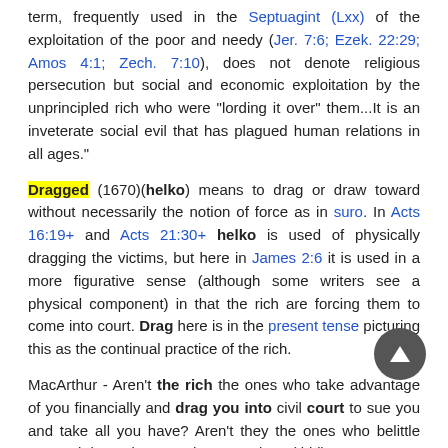term, frequently used in the Septuagint (Lxx) of the exploitation of the poor and needy (Jer. 7:6; Ezek. 22:29; Amos 4:1; Zech. 7:10), does not denote religious persecution but social and economic exploitation by the unprincipled rich who were "lording it over" them...It is an inveterate social evil that has plagued human relations in all ages."
Dragged (1670)(helko) means to drag or draw toward without necessarily the notion of force as in suro. In Acts 16:19+ and Acts 21:30+ helko is used of physically dragging the victims, but here in James 2:6 it is used in a more figurative sense (although some writers see a physical component) in that the rich are forcing them to come into court. Drag here is in the present tense picturing this as the continual practice of the rich.
MacArthur - Aren't the rich the ones who take advantage of you financially and drag you into civil court to sue you and take all you have? Aren't they the ones who belittle you and depreciate your human value? (Ibid)